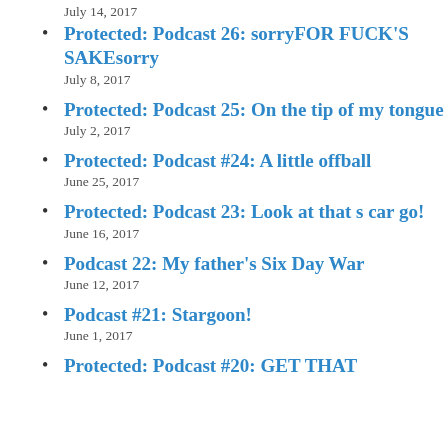July 14, 2017
Protected: Podcast 26: sorryFOR FUCK'S SAKEsorry
July 8, 2017
Protected: Podcast 25: On the tip of my tongue
July 2, 2017
Protected: Podcast #24: A little offball
June 25, 2017
Protected: Podcast 23: Look at that s car go!
June 16, 2017
Podcast 22: My father's Six Day War
June 12, 2017
Podcast #21: Stargoon!
June 1, 2017
Protected: Podcast #20: GET THAT